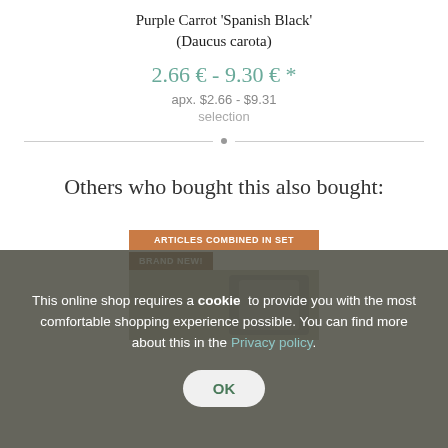Purple Carrot 'Spanish Black' (Daucus carota)
2.66 € - 9.30 € *
apx. $2.66 - $9.31
selection
Others who bought this also bought:
[Figure (other): Product card with orange badge 'ARTICLES COMBINED IN SET' and brown badge 'BRAND NEW!' overlaying a product image]
This online shop requires a cookie to provide you with the most comfortable shopping experience possible. You can find more about this in the Privacy policy.